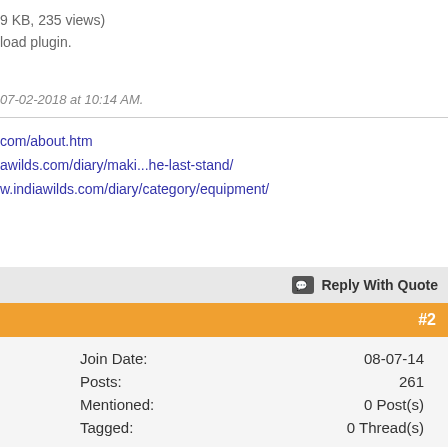9 KB, 235 views)
load plugin.
07-02-2018 at 10:14 AM.
com/about.htm
awilds.com/diary/maki...he-last-stand/
w.indiawilds.com/diary/category/equipment/
Reply With Quote
#2
| Field | Value |
| --- | --- |
| Join Date: | 08-07-14 |
| Posts: | 261 |
| Mentioned: | 0 Post(s) |
| Tagged: | 0 Thread(s) |